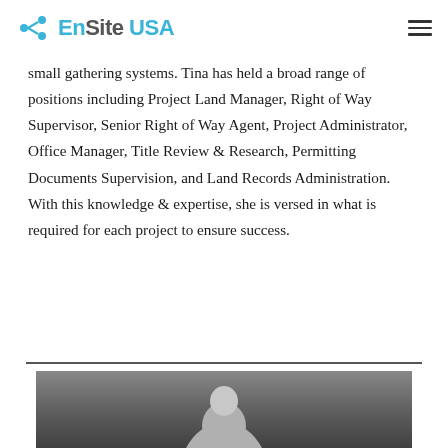EnSite USA
small gathering systems. Tina has held a broad range of positions including Project Land Manager, Right of Way Supervisor, Senior Right of Way Agent, Project Administrator, Office Manager, Title Review & Research, Permitting Documents Supervision, and Land Records Administration. With this knowledge & expertise, she is versed in what is required for each project to ensure success.
[Figure (photo): Portrait photo of a person, cropped at the bottom of the page, showing the upper portion with a dark grey background.]